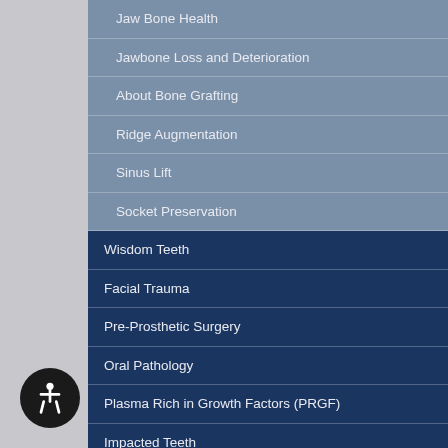Jaw Bone Health
Jawbone Loss and Deterioration
About Bone Grafting
Ridge Augmentation
Sinus Lift
Socket Preservation
Wisdom Teeth
Facial Trauma
Pre-Prosthetic Surgery
Oral Pathology
Plasma Rich in Growth Factors (PRGF)
Impacted Teeth
Imaging